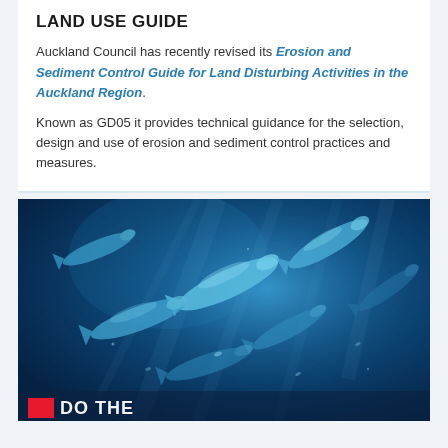LAND USE GUIDE
Auckland Council has recently revised its Erosion and Sediment Control Guide for Land Disturbing Activities in the Auckland Region.
Known as GD05 it provides technical guidance for the selection, design and use of erosion and sediment control practices and measures.
[Figure (photo): Underwater photograph of a school of dolphins swimming in deep blue water, with a logo bar at the bottom showing a red square and white text partially visible.]